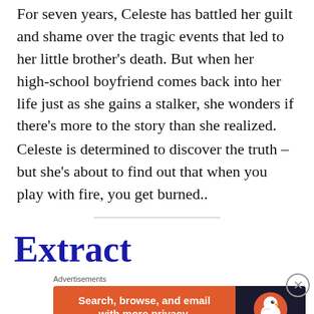For seven years, Celeste has battled her guilt and shame over the tragic events that led to her little brother's death. But when her high-school boyfriend comes back into her life just as she gains a stalker, she wonders if there's more to the story than she realized.
Celeste is determined to discover the truth – but she's about to find out that when you play with fire, you get burned..
Extract
[Figure (other): DuckDuckGo advertisement banner: orange background with text 'Search, browse, and email with more privacy. All in One Free App' and DuckDuckGo logo on dark right panel]